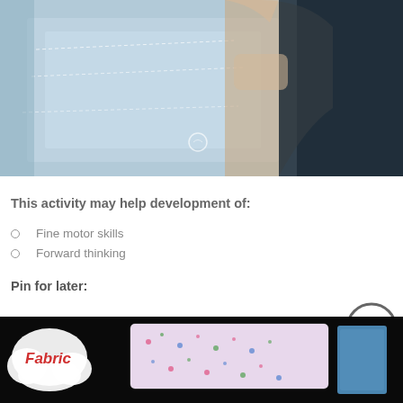[Figure (photo): Hands holding a piece of light blue sewn fabric with visible stitch lines and a button mark, against a dark navy background]
This activity may help development of:
Fine motor skills
Forward thinking
Pin for later:
[Figure (photo): Fabric sewing items on a dark background, with a cloud shape on the left containing the word Fabric in red, and floral patterned fabric pieces in the center and right]